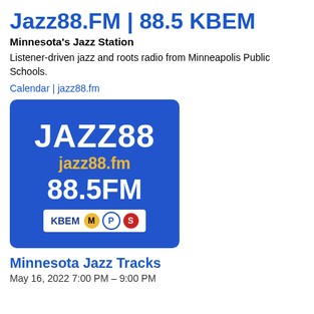Jazz88.FM | 88.5 KBEM
Minnesota's Jazz Station
Listener-driven jazz and roots radio from Minneapolis Public Schools.
Calendar | jazz88.fm
[Figure (logo): Jazz88 KBEM logo on blue background with JAZZ88, jazz88.fm, 88.5FM text and MPS badge icons]
Minnesota Jazz Tracks
May 16, 2022 7:00 PM – 9:00 PM